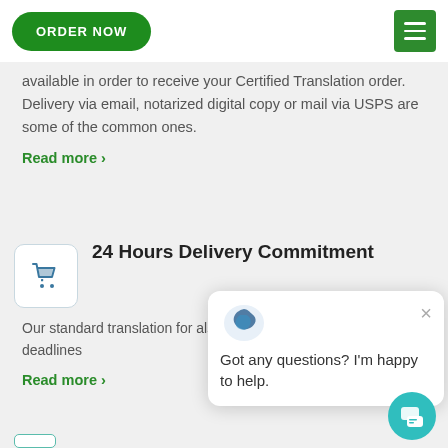ORDER NOW
available in order to receive your Certified Translation order. Delivery via email, notarized digital copy or mail via USPS are some of the common ones.
Read more >
24 Hours Delivery Commitment
Our standard translation for also offer Rush services, to meet your deadlines
Read more >
Got any questions? I'm happy to help.